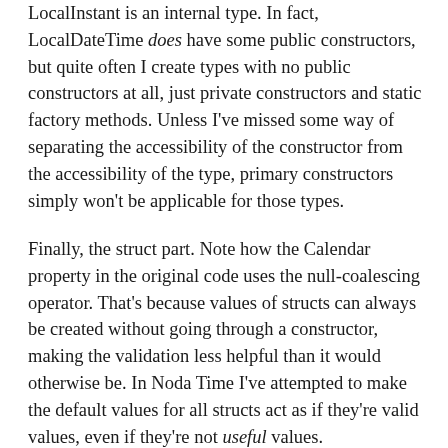LocalInstant is an internal type. In fact, LocalDateTime does have some public constructors, but quite often I create types with no public constructors at all, just private constructors and static factory methods. Unless I've missed some way of separating the accessibility of the constructor from the accessibility of the type, primary constructors simply won't be applicable for those types.
Finally, the struct part. Note how the Calendar property in the original code uses the null-coalescing operator. That's because values of structs can always be created without going through a constructor, making the validation less helpful than it would otherwise be. In Noda Time I've attempted to make the default values for all structs act as if they're valid values, even if they're not useful values. (ZonedDateTime uses a time zone of UTC in a similar fashion.) I suspect there's no equivalent for this using read-only automatically implemented